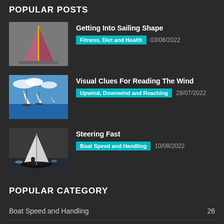POPULAR POSTS
Getting Into Sailing Shape | Fitness, Diet and Health | 03/08/2022
Visual Clues For Reading The Wind | Upwind, Downwind and Reaching | 28/07/2022
Steering Fast | Boat Speed and Handling | 10/08/2022
POPULAR CATEGORY
Boat Speed and Handling 26
Sailing To Win 22